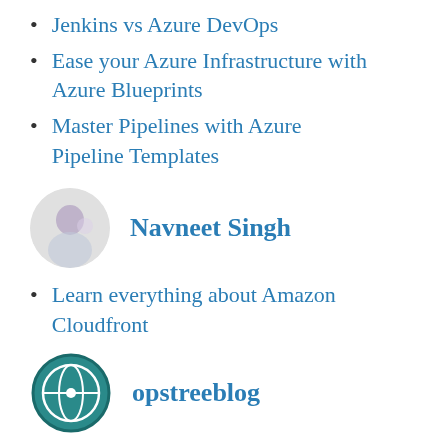Jenkins vs Azure DevOps
Ease your Azure Infrastructure with Azure Blueprints
Master Pipelines with Azure Pipeline Templates
Navneet Singh
Learn everything about Amazon Cloudfront
opstreeblog
The closer you think you are, the less you'll actually see
Migrate your data between various Databases